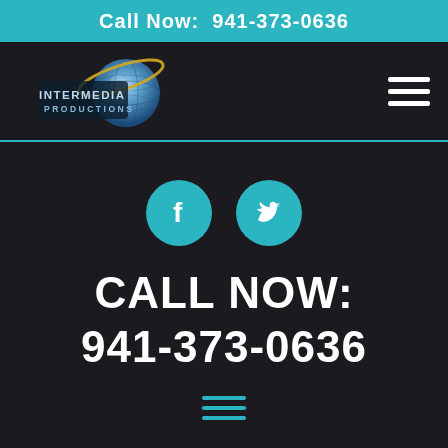Call Now:  941-373-0636
[Figure (logo): Intermedia Productions logo with globe and banner]
[Figure (other): Hamburger menu icon (three white horizontal lines)]
[Figure (other): Facebook and Twitter social media icons as teal circles]
CALL NOW:
941-373-0636
[Figure (other): Bottom hamburger menu icon (three teal horizontal lines)]